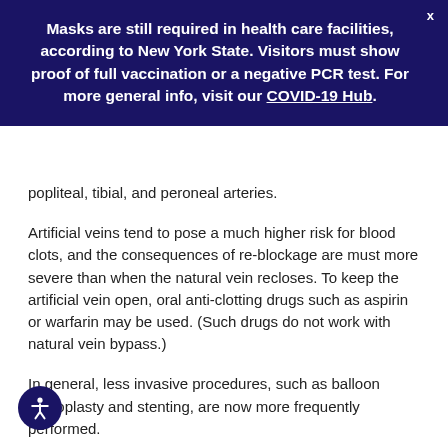Masks are still required in health care facilities, according to New York State. Visitors must show proof of full vaccination or a negative PCR test. For more general info, visit our COVID-19 Hub.
popliteal, tibial, and peroneal arteries.
Artificial veins tend to pose a much higher risk for blood clots, and the consequences of re-blockage are must more severe than when the natural vein recloses. To keep the artificial vein open, oral anti-clotting drugs such as aspirin or warfarin may be used. (Such drugs do not work with natural vein bypass.)
In general, less invasive procedures, such as balloon angioplasty and stenting, are now more frequently performed.